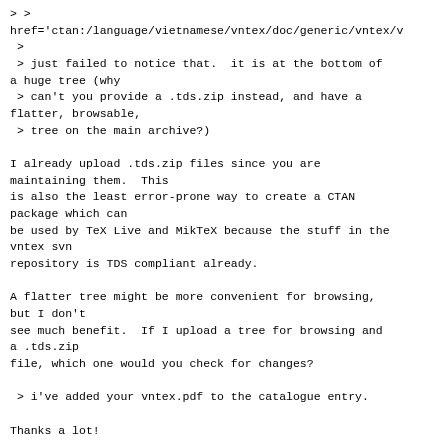> >
href='ctan:/language/vietnamese/vntex/doc/generic/vntex/v
 >
 > just failed to notice that.  it is at the bottom of a huge tree (why
 > can't you provide a .tds.zip instead, and have a flatter, browsable,
 > tree on the main archive?)

I already upload .tds.zip files since you are maintaining them.  This
is also the least error-prone way to create a CTAN package which can
be used by TeX Live and MikTeX because the stuff in the vntex svn
repository is TDS compliant already.

A flatter tree might be more convenient for browsing, but I don't
see much benefit.  If I upload a tree for browsing and a .tds.zip
file, which one would you check for changes?

 > i've added your vntex.pdf to the catalogue entry.

Thanks a lot!

Regards,
  Reinhard